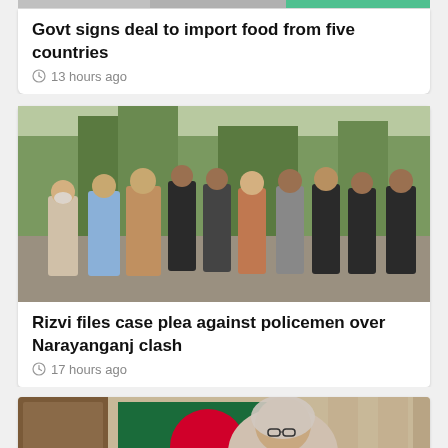[Figure (photo): Top strip clipped image showing colored bars]
Govt signs deal to import food from five countries
13 hours ago
[Figure (photo): Group of men walking outdoors, some in suits and traditional dress, trees in background]
Rizvi files case plea against policemen over Narayanganj clash
17 hours ago
[Figure (photo): Elderly woman with glasses and headscarf speaking, Bangladesh flag visible in background]